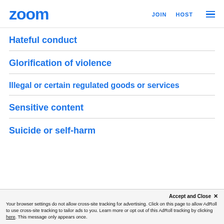zoom  JOIN  HOST
Hateful conduct
Glorification of violence
Illegal or certain regulated goods or services
Sensitive content
Suicide or self-harm
Accept and Close ×
Your browser settings do not allow cross-site tracking for advertising. Click on this page to allow AdRoll to use cross-site tracking to tailor ads to you. Learn more or opt out of this AdRoll tracking by clicking here. This message only appears once.